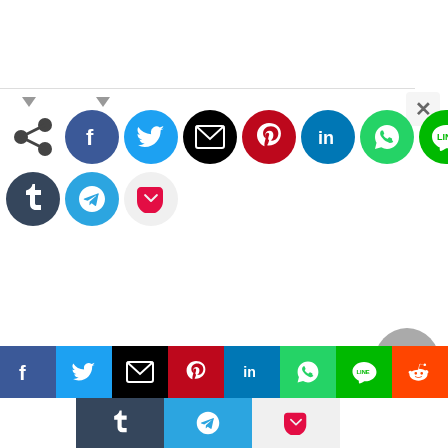[Figure (screenshot): Social media sharing widget showing circular share buttons (Facebook, Twitter, Email, Pinterest, LinkedIn, WhatsApp, LINE, Reddit, Tumblr, Telegram, Pocket) and a close X button, plus a bottom bar with the same icons as rectangular buttons.]